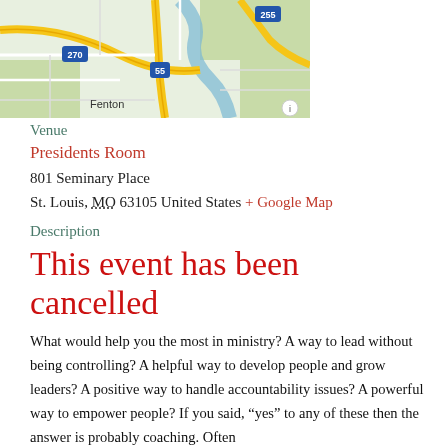[Figure (map): Street map showing highways 270, 255, and 55 near Fenton, Missouri area, in Google Maps style with yellow roads, green areas, and blue river.]
Venue
Presidents Room
801 Seminary Place
St. Louis, MO 63105 United States + Google Map
Description
This event has been cancelled
What would help you the most in ministry? A way to lead without being controlling? A helpful way to develop people and grow leaders? A positive way to handle accountability issues? A powerful way to empower people? If you said, “yes” to any of these then the answer is probably coaching. Often